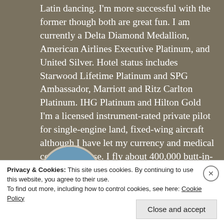Latin dancing. I'm more successful with the former though both are great fun. I am currently a Delta Diamond Medallion, American Airlines Executive Platinum, and United Silver. Hotel status includes Starwood Lifetime Platinum and SPG Ambassador, Marriott and Ritz Carlton Platinum. IHG Platinum and Hilton Gold I'm a licensed instrument-rated private pilot for single-engine land, fixed-wing aircraft although I have let my currency and medical certificate lapse. I fly about 400,000 butt-in-seat miles per year in
[Figure (photo): Circular avatar photo of a person in a yellow shirt outdoors in a mountainous/rocky setting]
Privacy & Cookies: This site uses cookies. By continuing to use this website, you agree to their use.
To find out more, including how to control cookies, see here: Cookie Policy
Close and accept